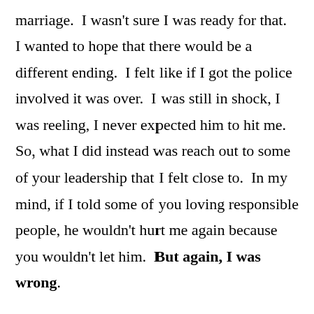marriage. I wasn't sure I was ready for that. I wanted to hope that there would be a different ending. I felt like if I got the police involved it was over. I was still in shock, I was reeling, I never expected him to hit me. So, what I did instead was reach out to some of your leadership that I felt close to. In my mind, if I told some of you loving responsible people, he wouldn't hurt me again because you wouldn't let him. But again, I was wrong.

I was wrong to think you were anything except a group of ill-equipped people who were not ready to handle any sort of crisis. What I encountered